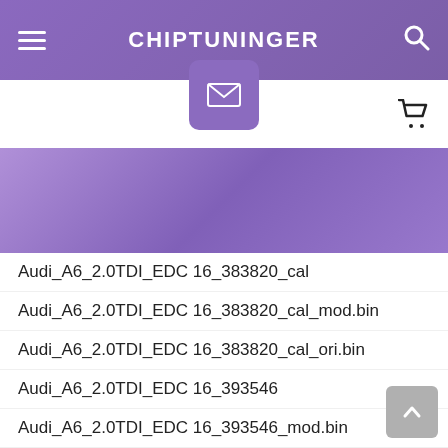CHIPTUNINGER
Audi_A6_2.0TDI_EDC 16_383820_cal
Audi_A6_2.0TDI_EDC 16_383820_cal_mod.bin
Audi_A6_2.0TDI_EDC 16_383820_cal_ori.bin
Audi_A6_2.0TDI_EDC 16_393546
Audi_A6_2.0TDI_EDC 16_393546_mod.bin
Audi_A6_2.0TDI_EDC 16_393546_ori.bin
Audi_A6_2.0TDI_EDC 16_393547cal
Audi_A6_2.0TDI_EDC 16_393547cal_mod.bin
Audi_A6_2.0TDI_EDC 16_393547cal_ori.bin